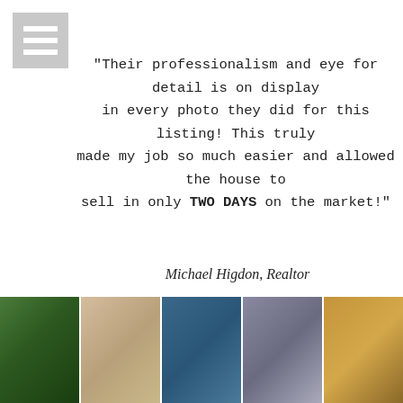[Figure (other): Hamburger menu icon — three horizontal white bars on grey/silver square background]
"Their professionalism and eye for detail is on display in every photo they did for this listing! This truly made my job so much easier and allowed the house to sell in only TWO DAYS on the market!"
Michael Higdon, Realtor
FOLLOW US ON INSTAGRAM
@1826PHOTOGRAPHIC
[Figure (photo): Row of five Instagram photos: 1) Blonde woman in black top on green grass, 2) Woman on beach/light background, 3) Child hugging chocolate lab dog on blue background, 4) Person near striped wall/architecture, 5) Couple embracing at sunset/beach]